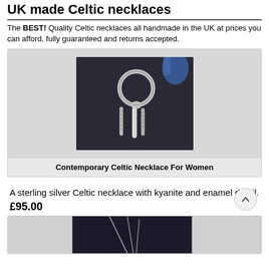UK made Celtic necklaces
The BEST! Quality Celtic necklaces all handmade in the UK at prices you can afford, fully guaranteed and returns accepted.
[Figure (photo): Photo of a contemporary Celtic necklace with silver ring, chain and kyanite/enamel detail pieces on a dark background]
Contemporary Celtic Necklace For Women
A sterling silver Celtic necklace with kyanite and enamel detail.
£95.00
[Figure (photo): Partially visible photo of another Celtic necklace product, cropped at bottom of page]